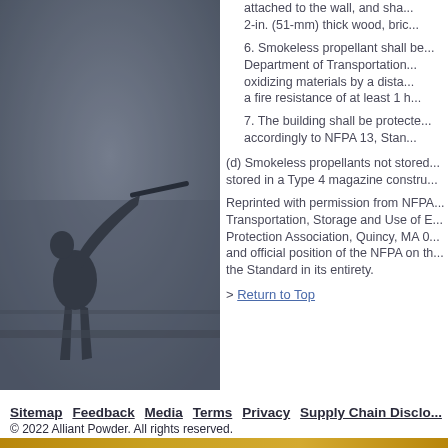[Figure (photo): Dark silhouette image of a person shooting a rifle, set against a hazy outdoor background. Image fills the left half of the page.]
attached to the wall, and sha... 2-in. (51-mm) thick wood, bric...
6. Smokeless propellant shall be... Department of Transportation... oxidizing materials by a dista... a fire resistance of at least 1 h...
7. The building shall be protecte... accordingly to NFPA 13, Stan...
(d) Smokeless propellants not stored... stored in a Type 4 magazine constru...
Reprinted with permission from NFPA... Transportation, Storage and Use of E... Protection Association, Quincy, MA 0... and official position of the NFPA on th... the Standard in its entirety.
> Return to Top
Sitemap  Feedback  Media  Terms  Privacy  Supply Chain Disclo...
© 2022 Alliant Powder. All rights reserved.